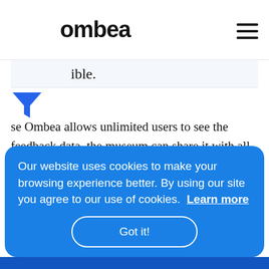ombea
ible.
[Figure (illustration): Blue funnel/filter icon]
se Ombea allows unlimited users to see the feedback data, the museum can share it with all the necessary workgroups. This has reduced the amount of emails and meetings associated with asking for a progress report, and has empowered individual working groups to implement their own initiatives to boost
Our website uses cookies to make your browsing experience better. By using our site you agree to our use of cookies. Learn more
Got it!